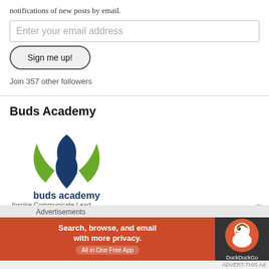notifications of new posts by email.
Enter your email address
Sign me up!
Join 357 other followers
Buds Academy
[Figure (logo): Buds Academy logo with blue flame and green leaves, text 'buds academy' and tagline 'Inspire.Communicate.Lead']
Advertisements
[Figure (other): DuckDuckGo advertisement banner: 'Search, browse, and email with more privacy. All in One Free App' with DuckDuckGo duck logo on dark background]